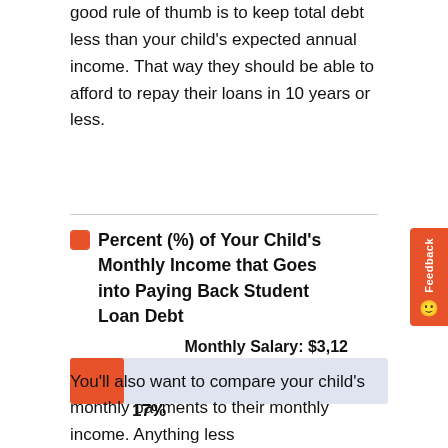good rule of thumb is to keep total debt less than your child's expected annual income. That way they should be able to afford to repay their loans in 10 years or less.
Percent (%) of Your Child's Monthly Income that Goes into Paying Back Student Loan Debt
[Figure (bar-chart): Percent (%) of Your Child's Monthly Income that Goes into Paying Back Student Loan Debt]
You'll also want to compare your child's monthly payments to their monthly income. Anything less